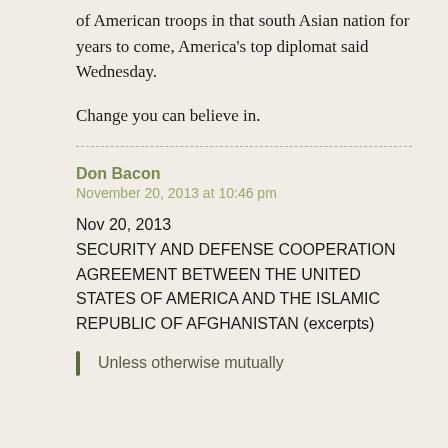of American troops in that south Asian nation for years to come, America's top diplomat said Wednesday.
Change you can believe in.
Don Bacon
November 20, 2013 at 10:46 pm
Nov 20, 2013 SECURITY AND DEFENSE COOPERATION AGREEMENT BETWEEN THE UNITED STATES OF AMERICA AND THE ISLAMIC REPUBLIC OF AFGHANISTAN (excerpts)
Unless otherwise mutually